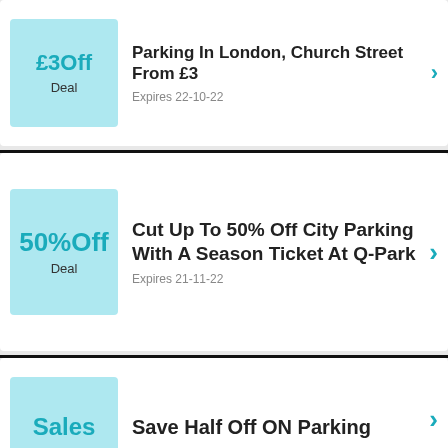[Figure (infographic): Deal badge showing £3Off with label Deal in light blue square]
Parking In London, Church Street From £3
Expires 22-10-22
[Figure (infographic): Deal badge showing 50%Off with label Deal in light blue square]
Cut Up To 50% Off City Parking With A Season Ticket At Q-Park
Expires 21-11-22
[Figure (infographic): Deal badge showing Sales with label Deal in light blue square]
Save Half Off ON Parking
Expires 22-10-22